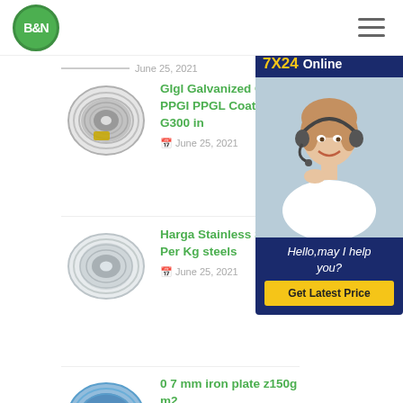[Figure (logo): B&N logo in green circle]
June 25, 2021 (date divider row)
[Figure (photo): Silver galvanized steel coil]
GIgl Galvanized Color PPGI PPGL Coated S G300 in
June 25, 2021
[Figure (photo): Stainless steel coil]
Harga Stainless Steel Per Kg steels
June 25, 2021
[Figure (photo): Blue coated steel coil]
0 7 mm iron plate z150g m2 plate and coil
[Figure (infographic): 7X24 Online chat widget with customer service photo and Get Latest Price button]